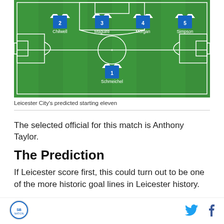[Figure (infographic): Leicester City predicted starting eleven soccer formation diagram on a green pitch. Shows jersey icons with numbers: #2 Chilwell, #3 Maguire, #4 Morgan, #5 Simpson (defensive line), and #1 Schmeichel (goalkeeper).]
Leicester City's predicted starting eleven
The selected official for this match is Anthony Taylor.
The Prediction
If Leicester score first, this could turn out to be one of the more historic goal lines in Leicester history.